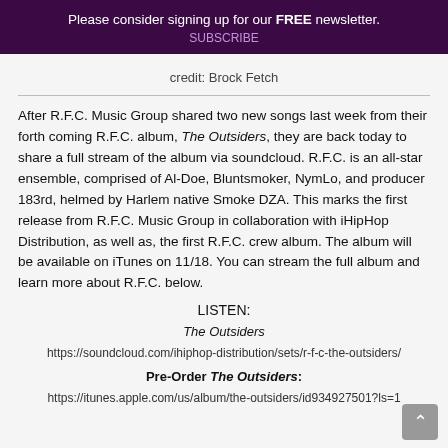Please consider signing up for our FREE newsletter.
credit: Brock Fetch
After R.F.C. Music Group shared two new songs last week from their forth coming R.F.C. album, The Outsiders, they are back today to share a full stream of the album via soundcloud. R.F.C. is an all-star ensemble, comprised of Al-Doe, Bluntsmoker, NymLo, and producer 183rd, helmed by Harlem native Smoke DZA. This marks the first release from R.F.C. Music Group in collaboration with iHipHop Distribution, as well as, the first R.F.C. crew album. The album will be available on iTunes on 11/18. You can stream the full album and learn more about R.F.C. below.
LISTEN:
The Outsiders
https://soundcloud.com/ihiphop-distribution/sets/r-f-c-the-outsiders/
Pre-Order The Outsiders:
https://itunes.apple.com/us/album/the-outsiders/id934927501?ls=1